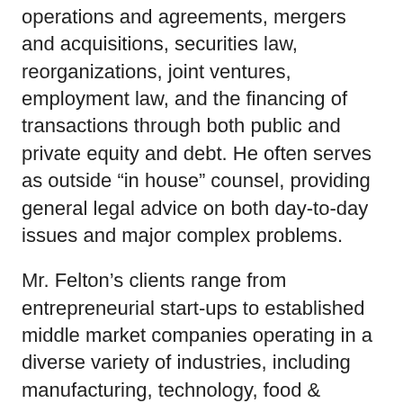operations and agreements, mergers and acquisitions, securities law, reorganizations, joint ventures, employment law, and the financing of transactions through both public and private equity and debt. He often serves as outside “in house” counsel, providing general legal advice on both day-to-day issues and major complex problems.
Mr. Felton’s clients range from entrepreneurial start-ups to established middle market companies operating in a diverse variety of industries, including manufacturing, technology, food & beverage, real estate, construction and healthcare, as well as service industries. Mr. Felton also represents issuers and underwriters in public and private offerings and counsels clients concerning corporate governance and SEC compliance issues.